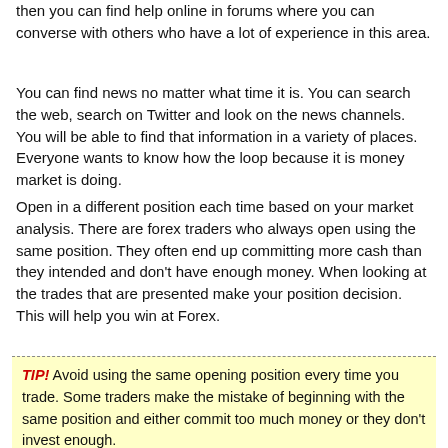then you can find help online in forums where you can converse with others who have a lot of experience in this area.
You can find news no matter what time it is. You can search the web, search on Twitter and look on the news channels. You will be able to find that information in a variety of places. Everyone wants to know how the loop because it is money market is doing.
Open in a different position each time based on your market analysis. There are forex traders who always open using the same position. They often end up committing more cash than they intended and don't have enough money. When looking at the trades that are presented make your position decision. This will help you win at Forex.
TIP! Avoid using the same opening position every time you trade. Some traders make the mistake of beginning with the same position and either commit too much money or they don't invest enough.